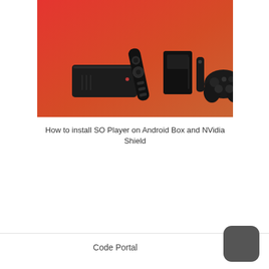[Figure (photo): Photo of Android TV box with remote control on the left, and NVIDIA Shield TV box, stick, and controller on the right, against a red-orange gradient background.]
How to install SO Player on Android Box and NVidia Shield
Code Portal